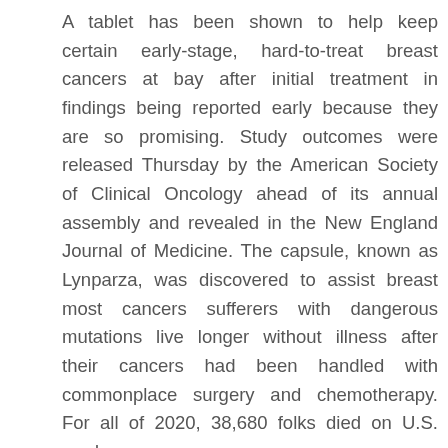A tablet has been shown to help keep certain early-stage, hard-to-treat breast cancers at bay after initial treatment in findings being reported early because they are so promising. Study outcomes were released Thursday by the American Society of Clinical Oncology ahead of its annual assembly and revealed in the New England Journal of Medicine. The capsule, known as Lynparza, was discovered to assist breast most cancers sufferers with dangerous mutations live longer without illness after their cancers had been handled with commonplace surgery and chemotherapy. For all of 2020, 38,680 folks died on U.S. roads – up 7.2{8e7f66eb29b6b6ca403445d58377b2e9bcf58354491103b50 or practically 2,600 more than in 2019, even though Americans drove thirteen{8e7f66eb29b6b6ca403445d58377b2e9bcf5835449110 fewer miles, preliminary data confirmed. In the second half of 2020, the variety of visitors deaths was up more than